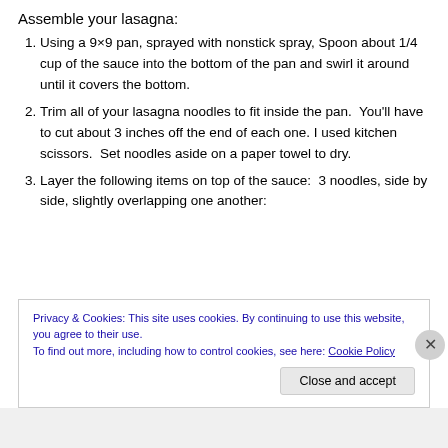Assemble your lasagna:
Using a 9×9 pan, sprayed with nonstick spray, Spoon about 1/4 cup of the sauce into the bottom of the pan and swirl it around until it covers the bottom.
Trim all of your lasagna noodles to fit inside the pan. You'll have to cut about 3 inches off the end of each one. I used kitchen scissors.  Set noodles aside on a paper towel to dry.
Layer the following items on top of the sauce:  3 noodles, side by side, slightly overlapping one another:
Privacy & Cookies: This site uses cookies. By continuing to use this website, you agree to their use.
To find out more, including how to control cookies, see here: Cookie Policy